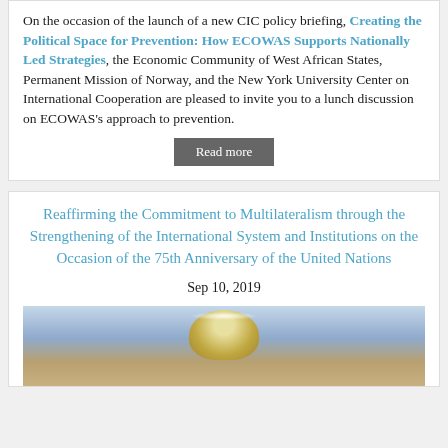On the occasion of the launch of a new CIC policy briefing, Creating the Political Space for Prevention: How ECOWAS Supports Nationally Led Strategies, the Economic Community of West African States, Permanent Mission of Norway, and the New York University Center on International Cooperation are pleased to invite you to a lunch discussion on ECOWAS's approach to prevention.
Read more
Reaffirming the Commitment to Multilateralism through the Strengthening of the International System and Institutions on the Occasion of the 75th Anniversary of the United Nations
Sep 10, 2019
[Figure (photo): Interior photo of a large decorated hall with a golden circular ceiling feature with lights and wood-paneled walls, appearing to be a UN meeting room or assembly hall.]